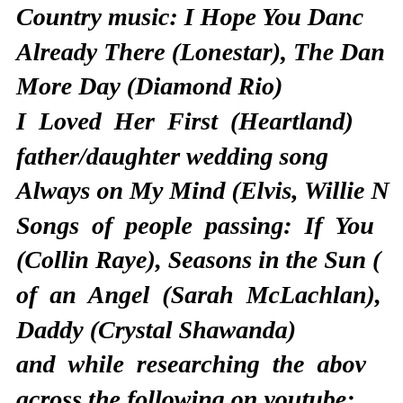Country music: I Hope You Dance, Already There (Lonestar), The Dance, One More Day (Diamond Rio) I Loved Her First (Heartland), father/daughter wedding song Always on My Mind (Elvis, Willie N Songs of people passing: If You (Collin Raye), Seasons in the Sun ( of an Angel (Sarah McLachlan), Daddy (Crystal Shawanda) and while researching the above across the following on youtube: "A Parent's Love", a letter se Mom/Dad to Child, advising the ch